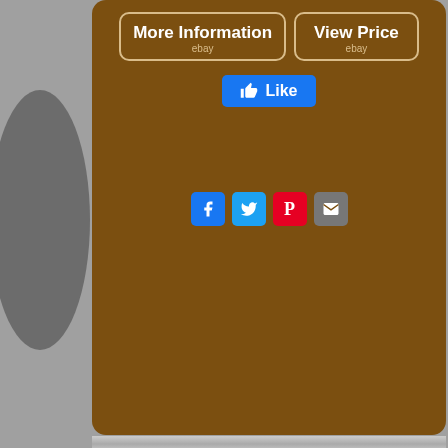[Figure (screenshot): Two eBay buttons: 'More Information ebay' and 'View Price ebay' on brown background]
[Figure (screenshot): Facebook Like button (blue)]
[Figure (screenshot): Social share icons: Facebook, Twitter, Pinterest, Email]
[Figure (screenshot): Search bar with Search button on brown background]
[Figure (infographic): Tag cloud on brown background with words: alcohol, home, moonshine, still, brewing, harley, vacuum, kettle, steel, chopper, compressor, beer, barrel, trash, brew, cafe, fuel, dispenser, boiler, tank, system, gallon, wine]